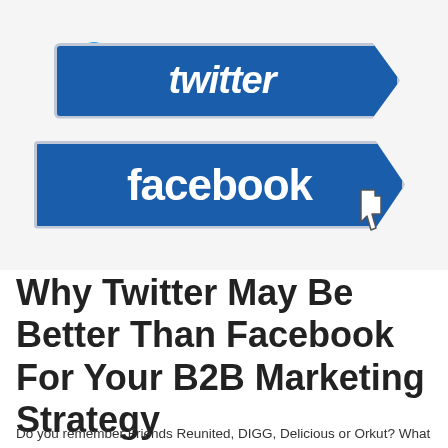[Figure (illustration): Image showing two road signs: a Twitter sign (blue, arrow-shaped pointing right) with a blue bird mascot on top, and below it a larger Facebook sign (blue, arrow-shaped pointing right) with a cursor/hand pointer icon clicking on it.]
Why Twitter May Be Better Than Facebook For Your B2B Marketing Strategy
Do you remember Friends Reunited, DIGG, Delicious or Orkut? What about Ping and Friendster? These